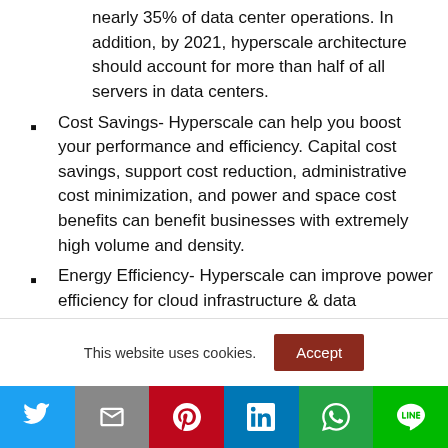nearly 35% of data center operations. In addition, by 2021, hyperscale architecture should account for more than half of all servers in data centers.
Cost Savings- Hyperscale can help you boost your performance and efficiency. Capital cost savings, support cost reduction, administrative cost minimization, and power and space cost benefits can benefit businesses with extremely high volume and density.
Energy Efficiency- Hyperscale can improve power efficiency for cloud infrastructure & data
This website uses cookies.
[Figure (infographic): Cookie consent bar with Accept button and social sharing bar with Twitter, Gmail, Pinterest, LinkedIn, WhatsApp, Line icons]